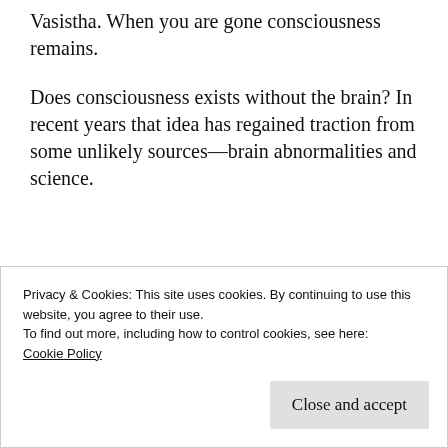Vasistha. When you are gone consciousness remains.
Does consciousness exists without the brain? In recent years that idea has regained traction from some unlikely sources—brain abnormalities and science.
[Figure (other): Green advertisement banner for WordPress backup plugin with text: 'The best real-time WordPress backup plugin']
Privacy & Cookies: This site uses cookies. By continuing to use this website, you agree to their use.
To find out more, including how to control cookies, see here:
Cookie Policy
Close and accept